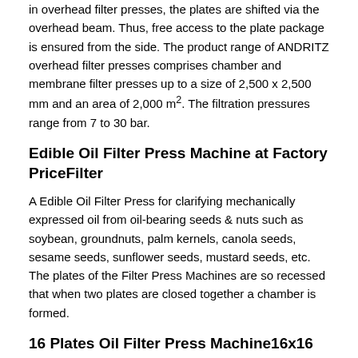in overhead filter presses, the plates are shifted via the overhead beam. Thus, free access to the plate package is ensured from the side. The product range of ANDRITZ overhead filter presses comprises chamber and membrane filter presses up to a size of 2,500 x 2,500 mm and an area of 2,000 m². The filtration pressures range from 7 to 30 bar.
Edible Oil Filter Press Machine at Factory PriceFilter
A Edible Oil Filter Press for clarifying mechanically expressed oil from oil-bearing seeds & nuts such as soybean, groundnuts, palm kernels, canola seeds, sesame seeds, sunflower seeds, mustard seeds, etc. The plates of the Filter Press Machines are so recessed that when two plates are closed together a chamber is formed.
16 Plates Oil Filter Press Machine16x16 Inches Plate
16 Plates Oil Filter Press Machine with 16" x 16" Inches Plate manufactured and supplied by Krishan Kanhaiya Expeller